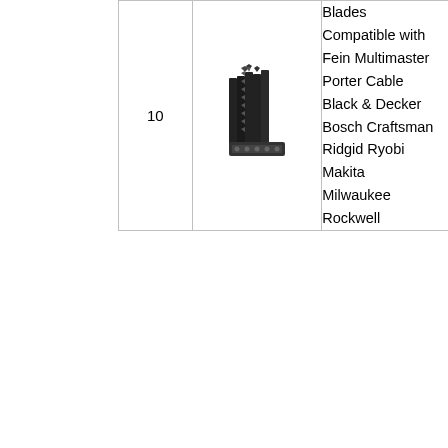| # | Image | Name | Score |  |
| --- | --- | --- | --- | --- |
| 10 | [image] | Blades Compatible with Fein Multimaster Porter Cable Black & Decker Bosch Craftsman Ridgid Ryobi Makita Milwaukee Rockwell | 9.8 | Check Price |
Related Posts
Top 10 Best De Blade For Beginner : Top 10 Deals Right Now!
Top 10 Best Blade For Curly Coat : Top 10 Deals Right Now!
Top 10 Best Band Saw Blade For Tight Curves : Top 10 Deals Right Now!